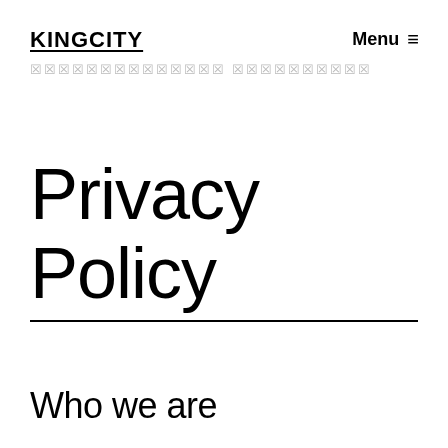KINGCITY
☒☒☒☒☒☒☒☒☒☒☒☒☒☒ ☒☒☒☒☒☒☒☒☒☒
Privacy Policy
Who we are